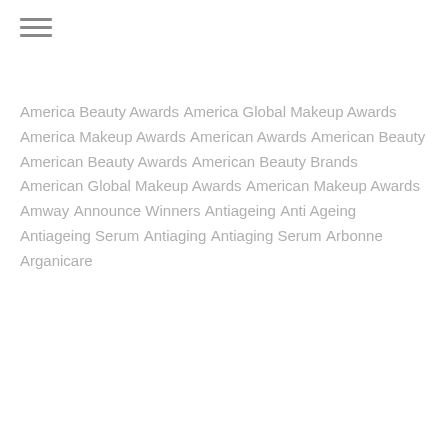America Beauty Awards
America Global Makeup Awards
America Makeup Awards
American Awards
American Beauty
American Beauty Awards
American Beauty Brands
American Global Makeup Awards
American Makeup Awards
Amway
Announce Winners
Antiageing
Anti Ageing
Antiageing Serum
Antiaging
Antiaging Serum
Arbonne
Arganicare